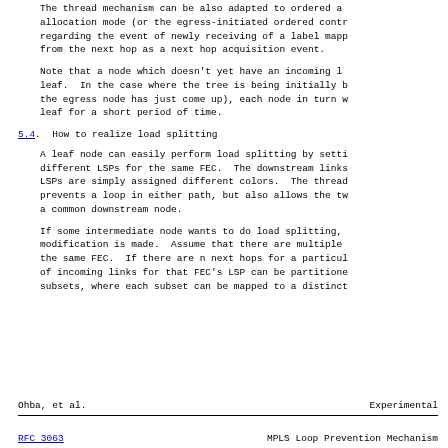The thread mechanism can be also adapted to ordered allocation mode (or the egress-initiated ordered control mode) regarding the event of newly receiving of a label mapping from the next hop as a next hop acquisition event.
Note that a node which doesn't yet have an incoming label is a leaf.  In the case where the tree is being initially built (e.g., the egress node has just come up), each node in turn will be a leaf for a short period of time.
5.4.  How to realize load splitting
A leaf node can easily perform load splitting by setting up different LSPs for the same FEC.  The downstream links for the two LSPs are simply assigned different colors.  The thread mechanism prevents a loop in either path, but also allows the two paths to share a common downstream node.
If some intermediate node wants to do load splitting, only a small modification is made.  Assume that there are multiple next hops for the same FEC.  If there are n next hops for a particular FEC, the set of incoming links for that FEC's LSP can be partitioned into n subsets, where each subset can be mapped to a distinct next hop.
Ohba, et al.                    Experimental
RFC 3063                MPLS Loop Prevention Mechanism